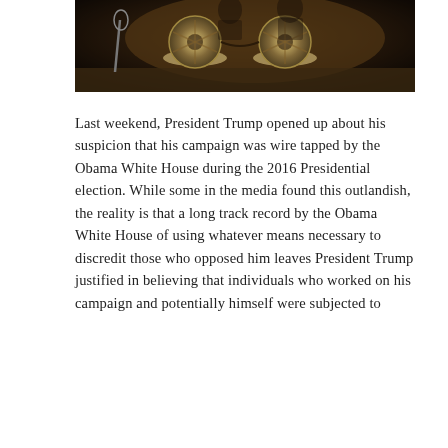[Figure (photo): Dark photograph showing a reel-to-reel tape recorder on a table, with figures in the background in a dimly lit room. A microphone stand is visible on the left.]
Last weekend, President Trump opened up about his suspicion that his campaign was wire tapped by the Obama White House during the 2016 Presidential election. While some in the media found this outlandish, the reality is that a long track record by the Obama White House of using whatever means necessary to discredit those who opposed him leaves President Trump justified in believing that individuals who worked on his campaign and potentially himself were subjected to surveillance.